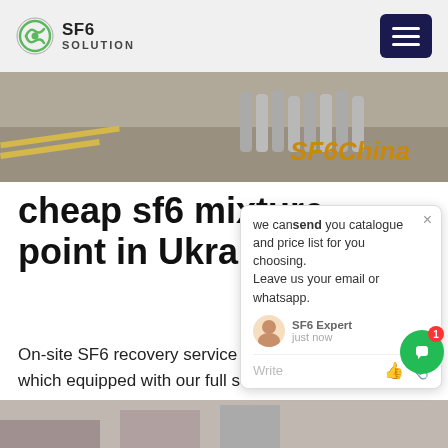SF6 SOLUTION
[Figure (photo): Industrial gas cylinders on gravel ground, SF6China branding overlay]
cheap sf6 mixture point in Ukraine
[Figure (screenshot): Chat popup: 'we can send you catalogue and price list for you choosing. Leave us your email or whatsapp.' SF6 Expert just now. Write input row.]
On-site SF6 recovery service is driven by vehicle which equipped with our full set of SF6 refilling, purification equipment and measuring instrument, drive to the substandard gas compartment, perform onsite shutdown and maintenance, directly recover unqualified SF6 gas, recycle and purify them to be qualified and then return to gas compartment, the maintenance cycle is shorter, and users do not have to invest any
[Figure (photo): Bottom strip showing engineering equipment]